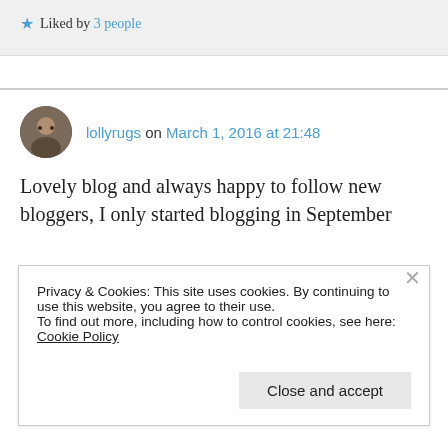Liked by 3 people
lollyrugs on March 1, 2016 at 21:48
Lovely blog and always happy to follow new bloggers, I only started blogging in September
Privacy & Cookies: This site uses cookies. By continuing to use this website, you agree to their use.
To find out more, including how to control cookies, see here: Cookie Policy